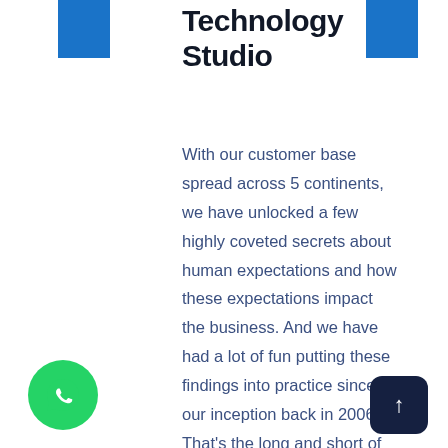Technology Studio
With our customer base spread across 5 continents, we have unlocked a few highly coveted secrets about human expectations and how these expectations impact the business. And we have had a lot of fun putting these findings into practice since our inception back in 2006. That's the long and short of who we are. Stay with us if you like where this story is